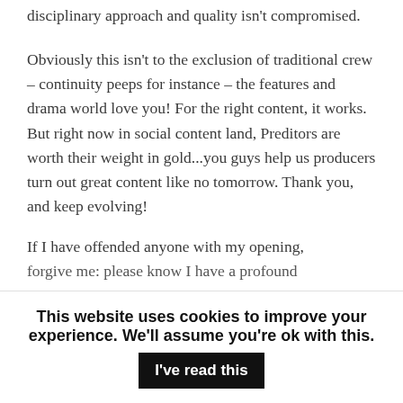disciplinary approach and quality isn't compromised.
Obviously this isn't to the exclusion of traditional crew – continuity peeps for instance – the features and drama world love you! For the right content, it works. But right now in social content land, Preditors are worth their weight in gold...you guys help us producers turn out great content like no tomorrow. Thank you, and keep evolving!
If I have offended anyone with my opening, forgive me: please know I have a profound
This website uses cookies to improve your experience. We'll assume you're ok with this. I've read this